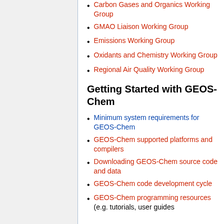Carbon Gases and Organics Working Group
GMAO Liaison Working Group
Emissions Working Group
Oxidants and Chemistry Working Group
Regional Air Quality Working Group
Getting Started with GEOS-Chem
Minimum system requirements for GEOS-Chem
GEOS-Chem supported platforms and compilers
Downloading GEOS-Chem source code and data
GEOS-Chem code development cycle
GEOS-Chem programming resources (e.g. tutorials, user guides